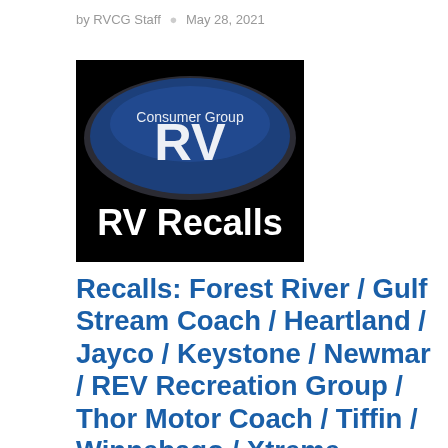by RVCG Staff · May 28, 2021
[Figure (logo): RV Consumer Group logo — dark blue oval with 'RV' in large white letters and 'Consumer Group' text, on a black background, with 'RV Recalls' text in large white bold letters below the oval.]
Recalls: Forest River / Gulf Stream Coach / Heartland / Jayco / Keystone / Newmar / REV Recreation Group / Thor Motor Coach / Tiffin / Winnebago / Xtreme